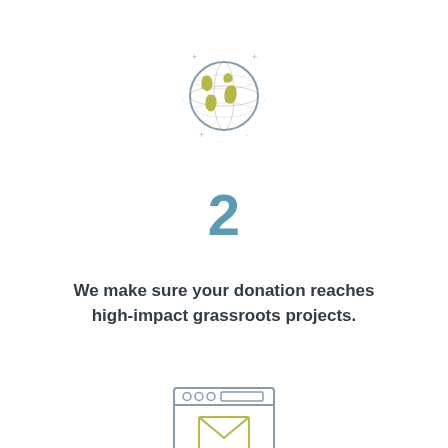[Figure (illustration): Globe icon with line-art style showing continents in olive/yellow-green on a gray-blue outlined sphere, with small plus signs and dots around it as decorative sparkles]
2
We make sure your donation reaches high-impact grassroots projects.
[Figure (illustration): Browser/email window icon with gray outline, showing three circles and a rectangle in the title bar, and an envelope icon in olive/yellow-green in the main content area]